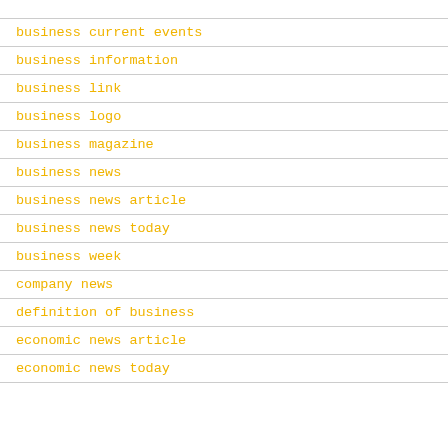business current events
business information
business link
business logo
business magazine
business news
business news article
business news today
business week
company news
definition of business
economic news article
economic news today